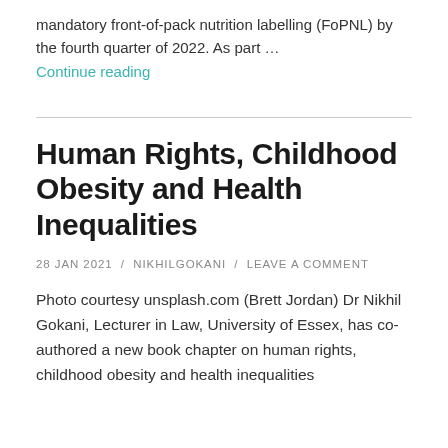mandatory front-of-pack nutrition labelling (FoPNL) by the fourth quarter of 2022. As part …
Continue reading
Human Rights, Childhood Obesity and Health Inequalities
28 JAN 2021 / NIKHILGOKANI / LEAVE A COMMENT
Photo courtesy unsplash.com (Brett Jordan) Dr Nikhil Gokani, Lecturer in Law, University of Essex, has co-authored a new book chapter on human rights, childhood obesity and health inequalities